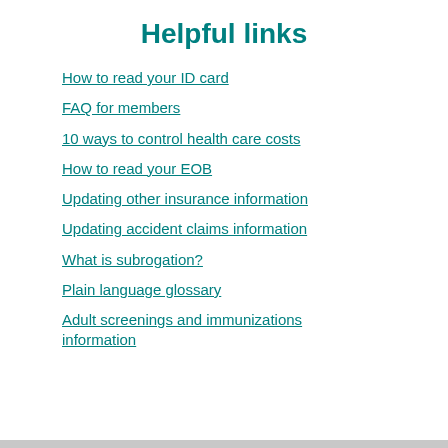Helpful links
How to read your ID card
FAQ for members
10 ways to control health care costs
How to read your EOB
Updating other insurance information
Updating accident claims information
What is subrogation?
Plain language glossary
Adult screenings and immunizations information